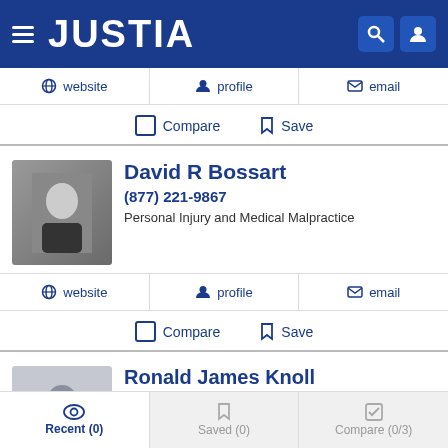JUSTIA
website  profile  email
Compare  Save
David R Bossart
(877) 221-9867
Personal Injury and Medical Malpractice
website  profile  email
Compare  Save
Ronald James Knoll
(701) 235-3300
Recent (0)  Saved (0)  Compare (0/3)